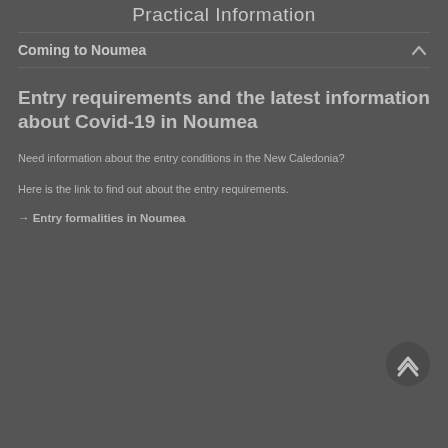Practical Information
Coming to Noumea
Entry requirements and the latest information about Covid-19 in Noumea
Need information about the entry conditions in the New Caledonia?
Here is the link to find out about the entry requirements.
→ Entry formalities in Noumea